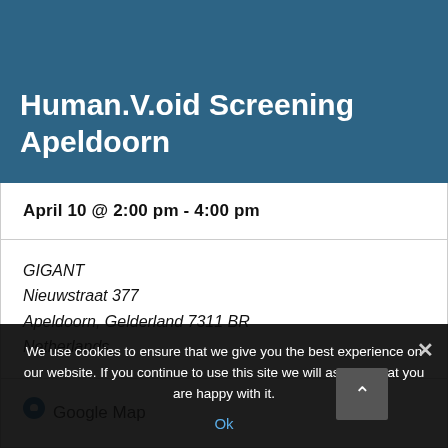Human.V.oid Screening Apeldoorn
April 10 @ 2:00 pm - 4:00 pm
GIGANT
Nieuwstraat 377
Apeldoorn, Gelderland 7311 BR
Netherlands
Google Map
We use cookies to ensure that we give you the best experience on our website. If you continue to use this site we will assume that you are happy with it.
Ok